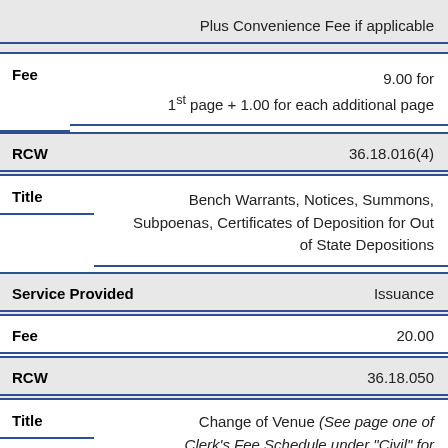|  | Plus Convenience Fee if applicable |
| Fee | 9.00 for
1st page + 1.00 for each additional page |
| RCW | 36.18.016(4) |
| Title | Bench Warrants, Notices, Summons, Subpoenas, Certificates of Deposition for Out of State Depositions |
| Service Provided | Issuance |
| Fee | 20.00 |
| RCW | 36.18.050 |
| Title | Change of Venue (See page one of Clerk's Fee Schedule under "Civil" for information on Change of Venue) |
|  |  |